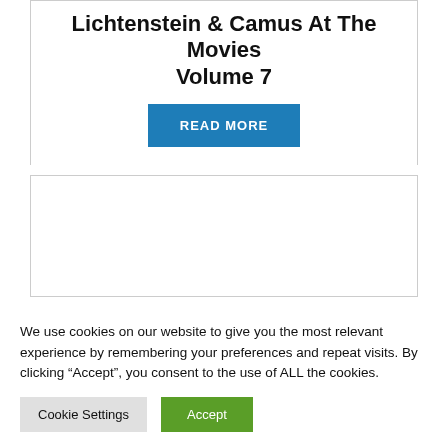Lichtenstein & Camus At The Movies Volume 7
READ MORE
[Figure (other): Empty white card/box area below the main card]
We use cookies on our website to give you the most relevant experience by remembering your preferences and repeat visits. By clicking “Accept”, you consent to the use of ALL the cookies.
Cookie Settings
Accept